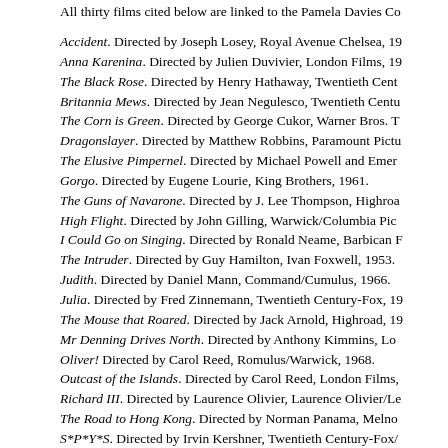All thirty films cited below are linked to the Pamela Davies Co
Accident. Directed by Joseph Losey, Royal Avenue Chelsea, 19
Anna Karenina. Directed by Julien Duvivier, London Films, 19
The Black Rose. Directed by Henry Hathaway, Twentieth Cent
Britannia Mews. Directed by Jean Negulesco, Twentieth Centu
The Corn is Green. Directed by George Cukor, Warner Bros. T
Dragonslayer. Directed by Matthew Robbins, Paramount Pictu
The Elusive Pimpernel. Directed by Michael Powell and Emer
Gorgo. Directed by Eugene Lourie, King Brothers, 1961.
The Guns of Navarone. Directed by J. Lee Thompson, Highroa
High Flight. Directed by John Gilling, Warwick/Columbia Pic
I Could Go on Singing. Directed by Ronald Neame, Barbican F
The Intruder. Directed by Guy Hamilton, Ivan Foxwell, 1953.
Judith. Directed by Daniel Mann, Command/Cumulus, 1966.
Julia. Directed by Fred Zinnemann, Twentieth Century-Fox, 1
The Mouse that Roared. Directed by Jack Arnold, Highroad, 19
Mr Denning Drives North. Directed by Anthony Kimmins, Lo
Oliver! Directed by Carol Reed, Romulus/Warwick, 1968.
Outcast of the Islands. Directed by Carol Reed, London Films,
Richard III. Directed by Laurence Olivier, Laurence Olivier/Le
The Road to Hong Kong. Directed by Norman Panama, Melno
S*P*Y*S. Directed by Irvin Kershner, Twentieth Century-Fox/
Steaming. Directed by Joseph Losey, World Film Services, 198
Storm Over the Nile. Directed by Zoltan Korda and Terence Yo
Superman II. Directed by Richard Lester and Richard D...